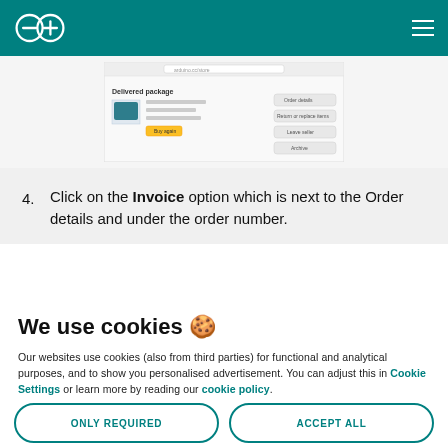Arduino logo and navigation bar
[Figure (screenshot): Screenshot of an Arduino order page showing order details with an Invoice option highlighted]
4. Click on the Invoice option which is next to the Order details and under the order number.
We use cookies 🍪
Our websites use cookies (also from third parties) for functional and analytical purposes, and to show you personalised advertisement. You can adjust this in Cookie Settings or learn more by reading our cookie policy.
ONLY REQUIRED
ACCEPT ALL